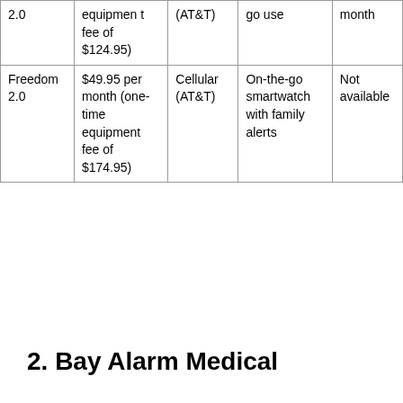| 2.0 | equipmen t fee of $124.95) | (AT&T) | go use | month |
| Freedom 2.0 | $49.95 per month (one-time equipment fee of $174.95) | Cellular (AT&T) | On-the-go smartwatch with family alerts | Not available |
2. Bay Alarm Medical